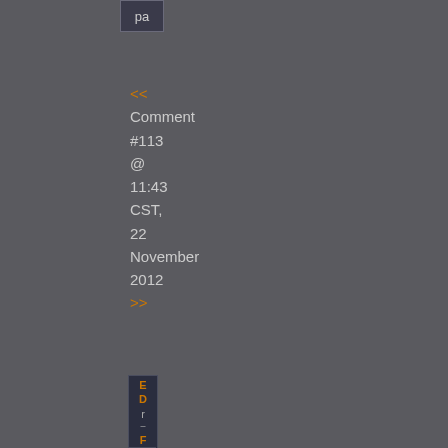[Figure (screenshot): Partial 'pa' label in a small box at top of page, cropped UI element]
<< Comment #113 @ 11:43 CST, 22 November 2012 >>
[Figure (screenshot): Vertical sidebar panel with orange letters E, D, r, F, t, # and gray dashes, part of a UI navigation sidebar]